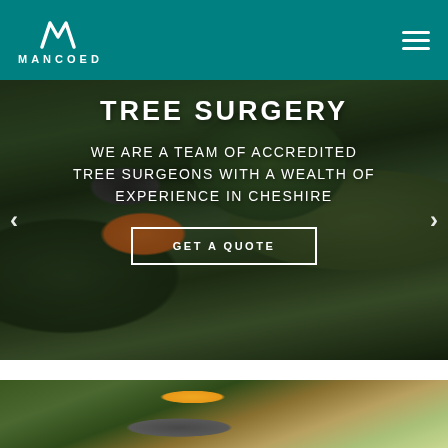MANCOED
TREE SURGERY
WE ARE A TEAM OF ACCREDITED TREE SURGEONS WITH A WEALTH OF EXPERIENCE IN CHESHIRE
GET A QUOTE
[Figure (photo): Tree surgeon in orange safety gear working with chainsaw in tree canopy, outdoor setting with forest background]
[Figure (photo): Partial view of another tree surgery scene, worker with orange hard hat visible at bottom of page]